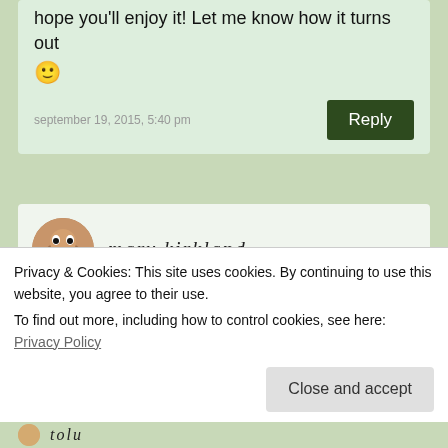hope you'll enjoy it! Let me know how it turns out 🙂
september 19, 2015, 5:40 pm
Reply
mary kirkland
Oh wow this looks so good. I love all kinds of cake.
Mary Kirkland recently posted… Freebie Friday
Privacy & Cookies: This site uses cookies. By continuing to use this website, you agree to their use. To find out more, including how to control cookies, see here: Privacy Policy
Close and accept
tolu